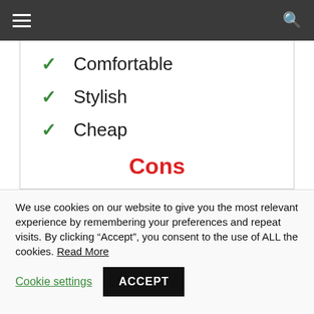≡  🔍
✓ Comfortable
✓ Stylish
✓ Cheap
Cons
✗ Can be larger or smaller than normal sizing
We use cookies on our website to give you the most relevant experience by remembering your preferences and repeat visits. By clicking "Accept", you consent to the use of ALL the cookies. Read More
Cookie settings  ACCEPT